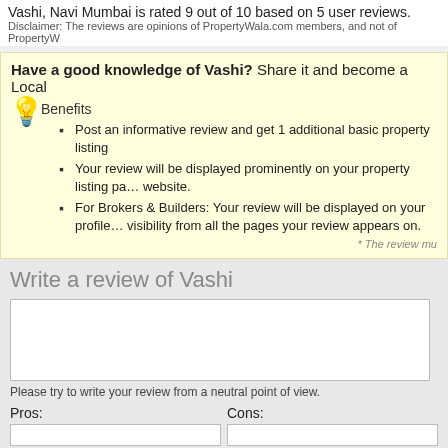Vashi, Navi Mumbai is rated 9 out of 10 based on 5 user reviews.
Disclaimer: The reviews are opinions of PropertyWala.com members, and not of PropertyW...
Have a good knowledge of Vashi? Share it and become a Local...
Benefits
Post an informative review and get 1 additional basic property listing
Your review will be displayed prominently on your property listing page on the website.
For Brokers & Builders: Your review will be displayed on your profile... visibility from all the pages your review appears on.
* The review mu...
Write a review of Vashi
Please try to write your review from a neutral point of view.
Pros:
Cons:
Enter some positive aspects of Vashi
Enter some negative aspe...